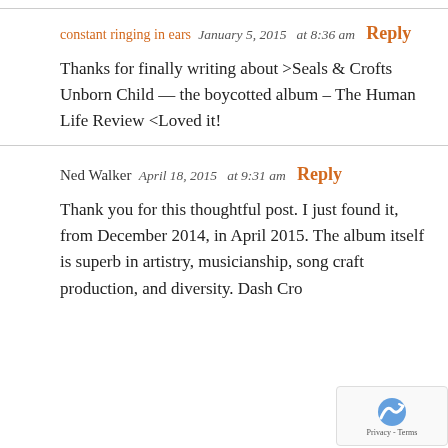constant ringing in ears  January 5, 2015  at 8:36 am  Reply
Thanks for finally writing about >Seals & Crofts Unborn Child — the boycotted album – The Human Life Review <Loved it!
Ned Walker  April 18, 2015  at 9:31 am  Reply
Thank you for this thoughtful post. I just found it, from December 2014, in April 2015. The album itself is superb in artistry, musicianship, song craft production, and diversity. Dash Cro...